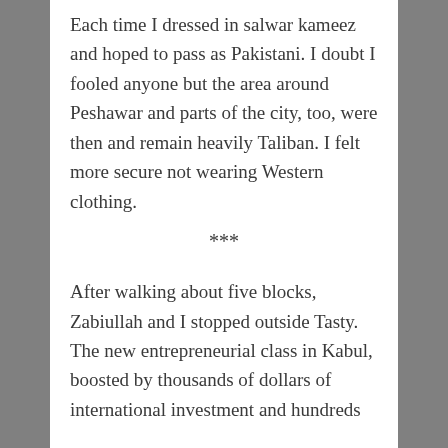Each time I dressed in salwar kameez and hoped to pass as Pakistani. I doubt I fooled anyone but the area around Peshawar and parts of the city, too, were then and remain heavily Taliban. I felt more secure not wearing Western clothing.
***
After walking about five blocks, Zabiullah and I stopped outside Tasty. The new entrepreneurial class in Kabul, boosted by thousands of dollars of international investment and hundreds